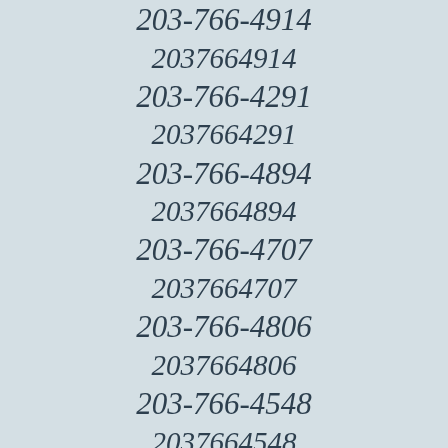203-766-4914
2037664914
203-766-4291
2037664291
203-766-4894
2037664894
203-766-4707
2037664707
203-766-4806
2037664806
203-766-4548
2037664548
203-766-4105
2037664105
203-766-4903
2037664903